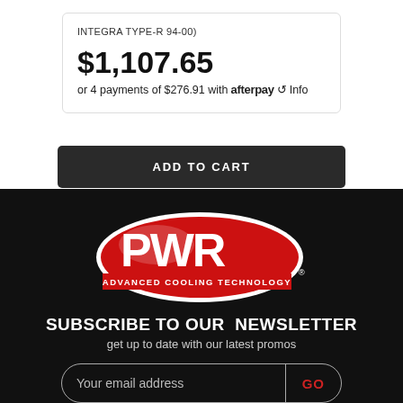INTEGRA TYPE-R 94-00)
$1,107.65
or 4 payments of $276.91 with afterpay Info
ADD TO CART
[Figure (logo): PWR Advanced Cooling Technology logo — red oval with white PWR lettering and tagline on a red banner]
SUBSCRIBE TO OUR  NEWSLETTER
get up to date with our latest promos
Your email address
GO